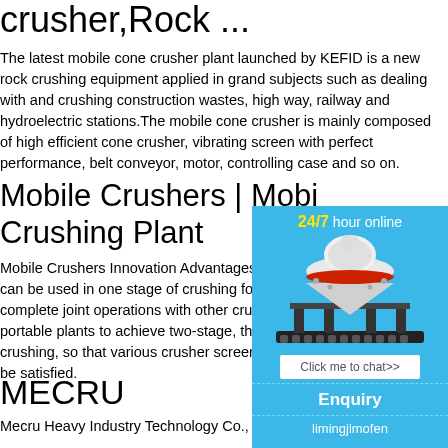crusher,Rock ...
The latest mobile cone crusher plant launched by KEFID is a new rock crushing equipment applied in grand subjects such as dealing with and crushing construction wastes, high way, railway and hydroelectric stations.The mobile cone crusher is mainly composed of high efficient cone crusher, vibrating screen with perfect performance, belt conveyor, motor, controlling case and so on.
Mobile Crushers | Mobile Crushing Plant
Mobile Crushers Innovation Advantages. O... can be used in one stage of crushing for se... or complete joint operations with other crushin... portable plants to achieve two-stage, three-... e crushing, so that various crusher screening... ld be satisfied.
[Figure (photo): Sidebar widget showing a cone crusher machine with '24/7 hour online' label, a 'Click me to chat>>' button, an 'Enquiry' section, and username 'limingjlmofen' on a blue background.]
MECRU
Mecru Heavy Industry Technology Co., Ltd.